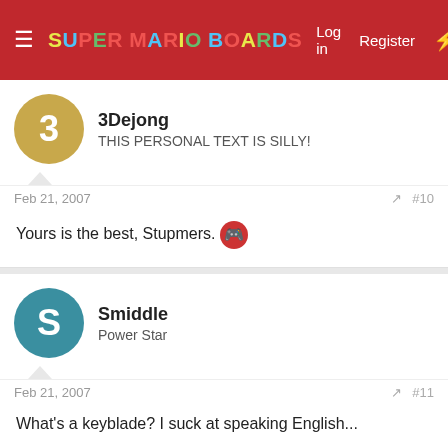SUPER MARIO BOARDS — Log in  Register
3Dejong
THIS PERSONAL TEXT IS SILLY!
Feb 21, 2007   #10
Yours is the best, Stupmers. 🍄
Smiddle
Power Star
Feb 21, 2007   #11
What's a keyblade? I suck at speaking English...
ultimatetoad